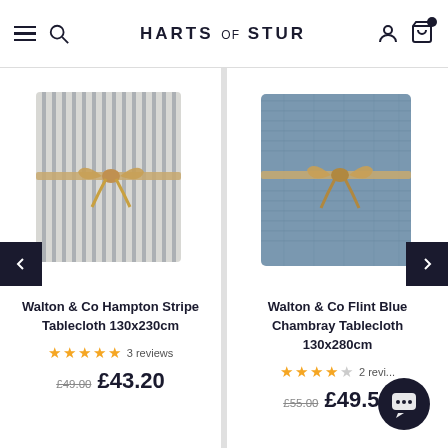HARTS OF STUR
[Figure (photo): Folded striped tablecloth with twine bow, grey and white stripes]
Walton & Co Hampton Stripe Tablecloth 130x230cm
★★★★★ 3 reviews
£49.00 £43.20
[Figure (photo): Folded blue chambray tablecloth with twine bow]
Walton & Co Flint Blue Chambray Tablecloth 130x280cm
★★★★☆ 2 reviews
£55.00 £49.50